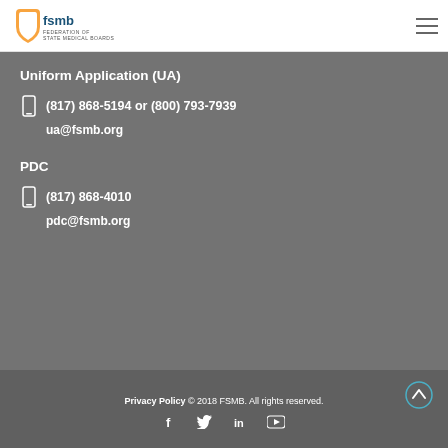[Figure (logo): FSMB Federation of State Medical Boards logo with orange shield and blue text]
Uniform Application (UA)
(817) 868-5194 or (800) 793-7939
ua@fsmb.org
PDC
(817) 868-4010
pdc@fsmb.org
Privacy Policy © 2018 FSMB. All rights reserved.